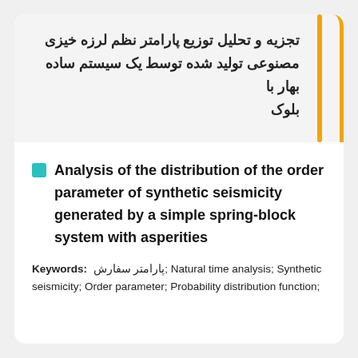تجزیه و تحلیل توزیع پارامتر نظم لرزه خیزی مصنوعی تولید شده توسط یک سیستم ساده بهار با بلوک
Analysis of the distribution of the order parameter of synthetic seismicity generated by a simple spring-block system with asperities
Keywords: پارامتر سفارش; Natural time analysis; Synthetic seismicity; Order parameter; Probability distribution function;